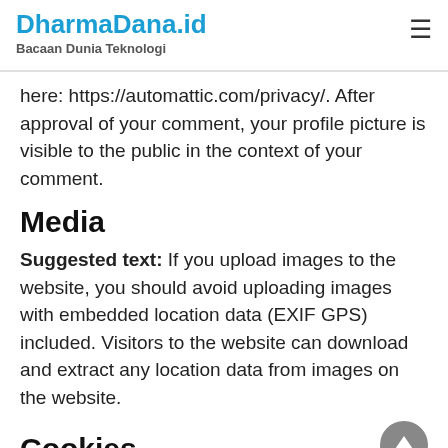DharmaDana.id
Bacaan Dunia Teknologi
here: https://automattic.com/privacy/. After approval of your comment, your profile picture is visible to the public in the context of your comment.
Media
Suggested text: If you upload images to the website, you should avoid uploading images with embedded location data (EXIF GPS) included. Visitors to the website can download and extract any location data from images on the website.
Cookies
Suggested text: If you leave a comment on our